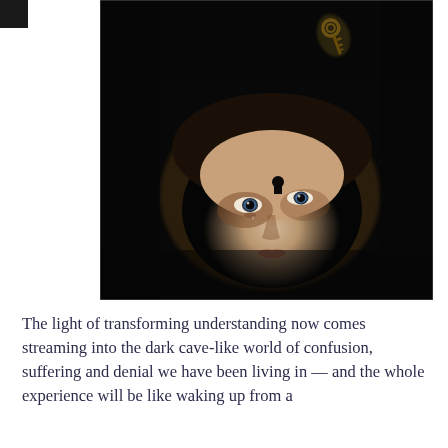[Figure (photo): A dramatic surrealist photograph of a person's face looking upward against a very dark, almost black background. The face has blue eyes and a keyhole shape on the forehead. Above the face, a glowing golden key floats in the darkness. The image is moody and artistic.]
The light of transforming understanding now comes streaming into the dark cave-like world of confusion, suffering and denial we have been living in — and the whole experience will be like waking up from a